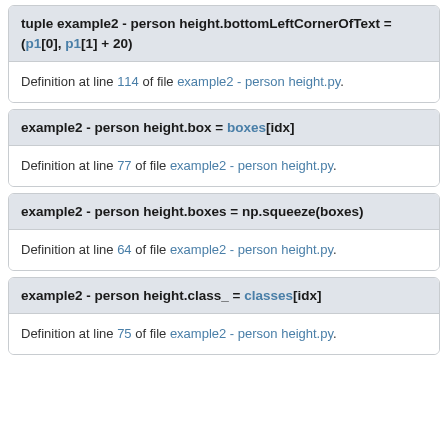tuple example2 - person height.bottomLeftCornerOfText = (p1[0], p1[1] + 20)
Definition at line 114 of file example2 - person height.py.
example2 - person height.box = boxes[idx]
Definition at line 77 of file example2 - person height.py.
example2 - person height.boxes = np.squeeze(boxes)
Definition at line 64 of file example2 - person height.py.
example2 - person height.class_ = classes[idx]
Definition at line 75 of file example2 - person height.py.